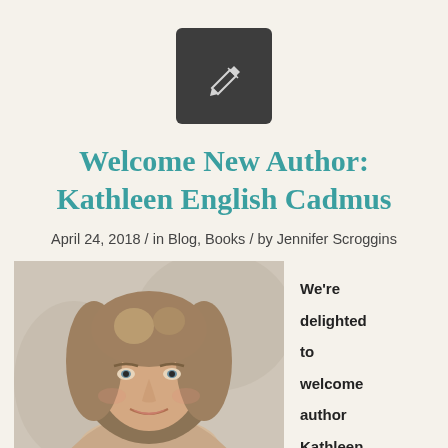[Figure (logo): Dark gray square icon with a white pencil/edit icon in the center]
Welcome New Author: Kathleen English Cadmus
April 24, 2018 / in Blog, Books / by Jennifer Scroggins
[Figure (photo): Portrait photo of a woman with shoulder-length brown highlighted hair, smiling, with a blurred background]
We're delighted to welcome author Kathleen Engli...